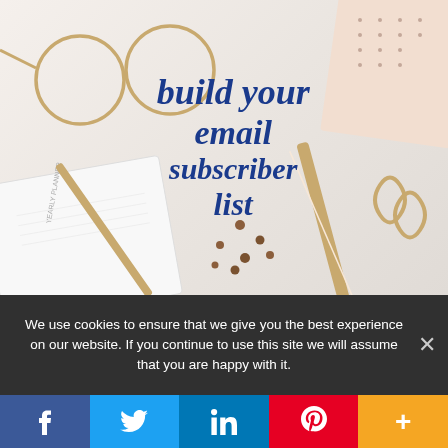[Figure (photo): Flat lay desk scene with glasses, pen, paperclips, planner, and notebook on white background with blue italic script text reading 'build your email subscriber list']
We use cookies to ensure that we give you the best experience on our website. If you continue to use this site we will assume that you are happy with it.
f  Twitter bird  in  P  +